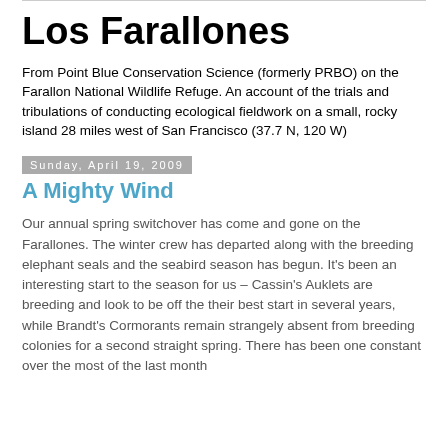Los Farallones
From Point Blue Conservation Science (formerly PRBO) on the Farallon National Wildlife Refuge. An account of the trials and tribulations of conducting ecological fieldwork on a small, rocky island 28 miles west of San Francisco (37.7 N, 120 W)
Sunday, April 19, 2009
A Mighty Wind
Our annual spring switchover has come and gone on the Farallones. The winter crew has departed along with the breeding elephant seals and the seabird season has begun. It's been an interesting start to the season for us – Cassin's Auklets are breeding and look to be off the their best start in several years, while Brandt's Cormorants remain strangely absent from breeding colonies for a second straight spring. There has been one constant over the most of the last month